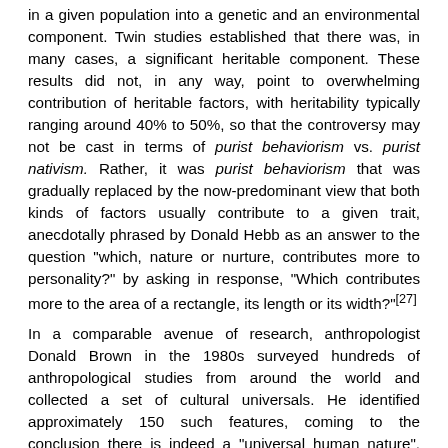in a given population into a genetic and an environmental component. Twin studies established that there was, in many cases, a significant heritable component. These results did not, in any way, point to overwhelming contribution of heritable factors, with heritability typically ranging around 40% to 50%, so that the controversy may not be cast in terms of purist behaviorism vs. purist nativism. Rather, it was purist behaviorism that was gradually replaced by the now-predominant view that both kinds of factors usually contribute to a given trait, anecdotally phrased by Donald Hebb as an answer to the question "which, nature or nurture, contributes more to personality?" by asking in response, "Which contributes more to the area of a rectangle, its length or its width?"[27]
In a comparable avenue of research, anthropologist Donald Brown in the 1980s surveyed hundreds of anthropological studies from around the world and collected a set of cultural universals. He identified approximately 150 such features, coming to the conclusion there is indeed a "universal human nature", and that these features point to what that universal human nature is.[28]
Determinism